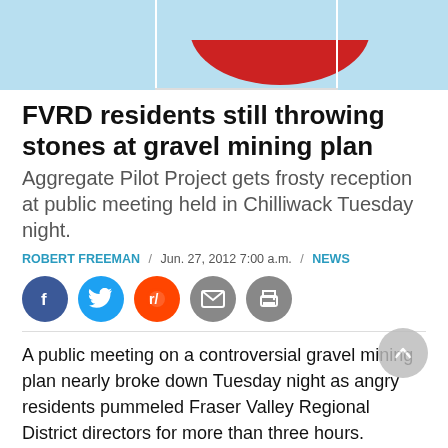[Figure (illustration): Partial image visible at top of page showing a light blue background with a red shape partially visible]
FVRD residents still throwing stones at gravel mining plan
Aggregate Pilot Project gets frosty reception at public meeting held in Chilliwack Tuesday night.
ROBERT FREEMAN / Jun. 27, 2012 7:00 a.m. / NEWS
[Figure (infographic): Social media share icons: Facebook, Twitter, Reddit, Email, Print]
A public meeting on a controversial gravel mining plan nearly broke down Tuesday night as angry residents pummeled Fraser Valley Regional District directors for more than three hours.
Not only were the FVRD board directors on the hot seat,